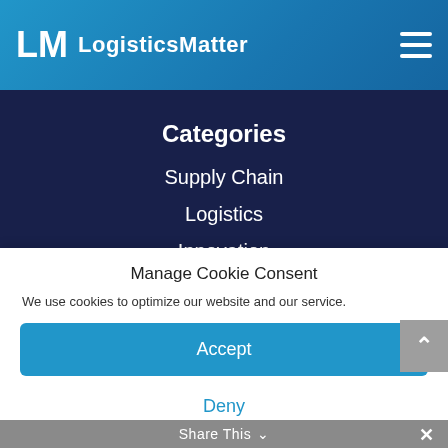LogisticsMatter
Categories
Supply Chain
Logistics
Innovation
Manage Cookie Consent
We use cookies to optimize our website and our service.
Accept
Deny
Share This